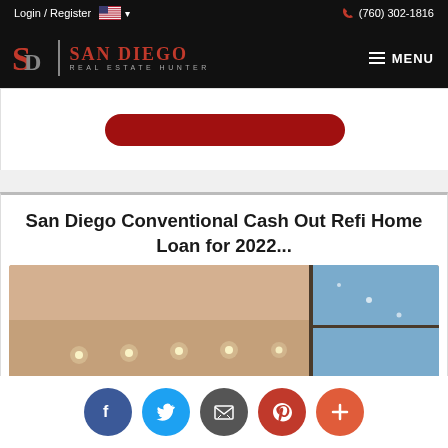Login / Register  (760) 302-1816  San Diego Real Estate Hunter  MENU
[Figure (screenshot): Red rounded button partially visible]
San Diego Conventional Cash Out Refi Home Loan for 2022...
[Figure (photo): Interior room photo showing ceiling with recessed lights and a window with blue sky]
[Figure (infographic): Social sharing icons: Facebook, Twitter, Email, Pinterest, Plus]